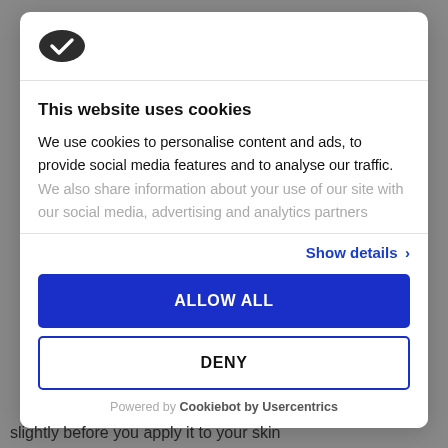[Figure (logo): Cookiebot logo - dark oval shape with white checkmark]
This website uses cookies
We use cookies to personalise content and ads, to provide social media features and to analyse our traffic. We also share information about your use of our site with our social media, advertising and analytics partners
Show details ›
ALLOW ALL
DENY
Powered by Cookiebot by Usercentrics
slightly before you apply it to your skin